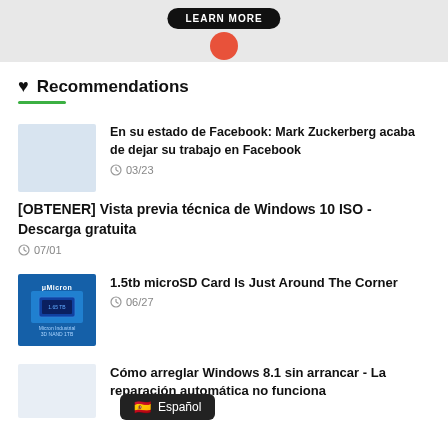[Figure (photo): Banner advertisement with dark button labeled LEARN MORE and a red circular object at bottom center, gray/white background]
Recommendations
En su estado de Facebook: Mark Zuckerberg acaba de dejar su trabajo en Facebook
03/23
[OBTENER] Vista previa técnica de Windows 10 ISO - Descarga gratuita
07/01
1.5tb microSD Card Is Just Around The Corner
06/27
Cómo arreglar Windows 8.1 sin arrancar - La reparación automática no funciona